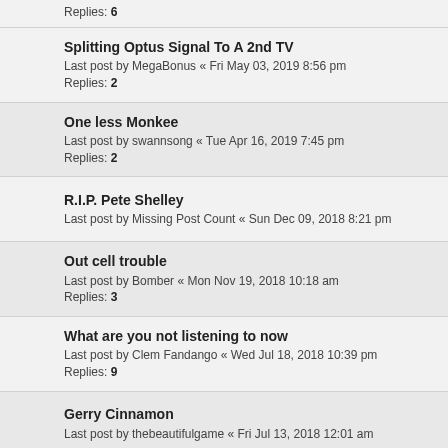Replies: 6
Splitting Optus Signal To A 2nd TV
Last post by MegaBonus « Fri May 03, 2019 8:56 pm
Replies: 2
One less Monkee
Last post by swannsong « Tue Apr 16, 2019 7:45 pm
Replies: 2
R.I.P. Pete Shelley
Last post by Missing Post Count « Sun Dec 09, 2018 8:21 pm
Out cell trouble
Last post by Bomber « Mon Nov 19, 2018 10:18 am
Replies: 3
What are you not listening to now
Last post by Clem Fandango « Wed Jul 18, 2018 10:39 pm
Replies: 9
Gerry Cinnamon
Last post by thebeautifulgame « Fri Jul 13, 2018 12:01 am
FM Radio
Last post by Sushi « Sat Apr 14, 2018 2:57 pm
Replies: 2
RIP Stephen Hawking